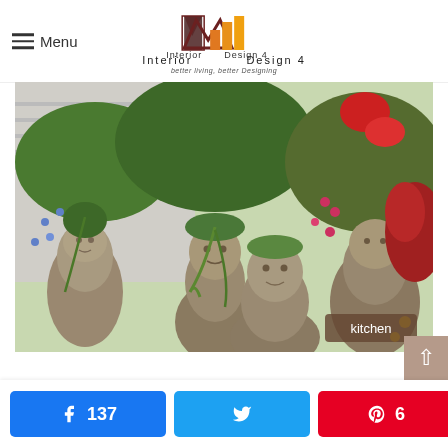Menu | Interior Design 4 — better living, better Designing
[Figure (photo): Stone head bust planters filled with various succulents, cascading green plants, red flowers, and colorful foliage arranged in a garden setting. A 'kitchen' label badge appears in the bottom-right corner of the image.]
Share: 137 Facebook | Tweet | Pin 6 | 143 SHARES